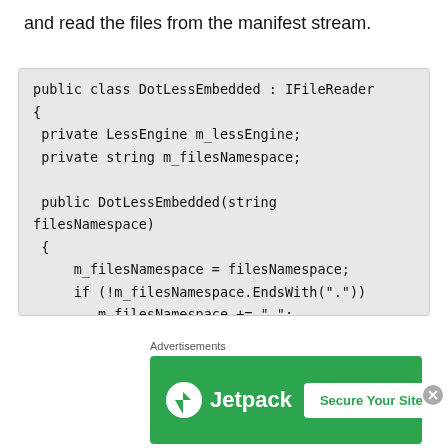and read the files from the manifest stream.
[Figure (screenshot): Code block showing C# class DotLessEmbedded implementing IFileReader with constructor and fields]
Advertisements
[Figure (other): Jetpack advertisement banner with 'Secure Your Site' button]